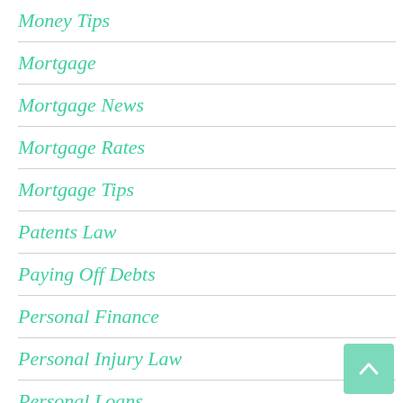Money Tips
Mortgage
Mortgage News
Mortgage Rates
Mortgage Tips
Patents Law
Paying Off Debts
Personal Finance
Personal Injury Law
Personal Loans
Pets
Quick Cash
Real Estate